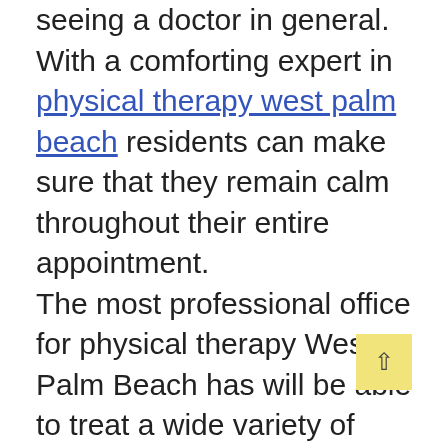seeing a doctor in general. With a comforting expert in physical therapy west palm beach residents can make sure that they remain calm throughout their entire appointment.

The most professional office for physical therapy West Palm Beach has will be able to treat a wide variety of conditions. From nerve pain and sore muscles to recovering from a severe accident, the most capable physical therapist west palm beach has can be there for everyone. While seeking pain management Palm Beach County patients can set goals and work towards them with each successive visit. With the help of a local, compassionate and well rounded expert in physical therapy West Palm Beach residents can get the help they need to